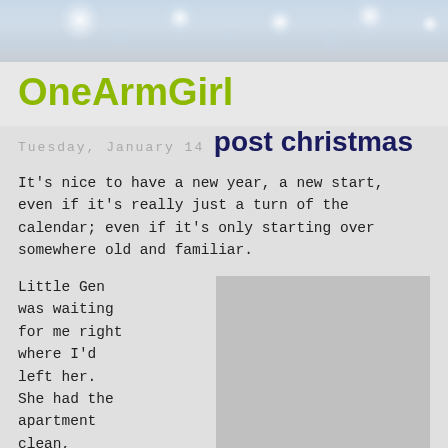[Figure (photo): Blog header photo showing bokeh light orbs/bubbles on a soft blue-grey background]
OneArmGirl
Tuesday, January 14
post christmas
It’s nice to have a new year, a new start, even if it’s really just a turn of the calendar; even if it’s only starting over somewhere old and familiar.
Little Gen was waiting for me right where I’d left her. She had the apartment clean,
[Figure (photo): A partially visible photograph, grey/light colored, appears to show an interior or outdoor scene]